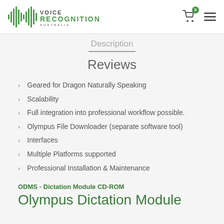Voice Recognition Australia
Description
Reviews
Geared for Dragon Naturally Speaking
Scalability
Full integration into professional workflow possible.
Olympus File Downloader (separate software tool)
Interfaces
Multiple Platforms supported
Professional Installation & Maintenance
ODMS - Dictation Module CD-ROM
Olympus Dictation Module